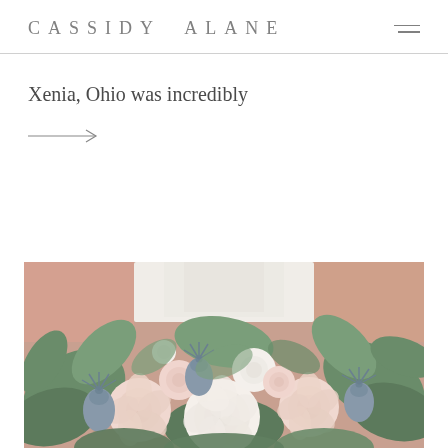CASSIDY ALANE
Xenia, Ohio was incredibly
[Figure (other): Arrow icon pointing right]
[Figure (photo): Close-up photo of a bridal bouquet with white and blush pink roses, blue thistle flowers, and green foliage, held by a person in a white dress]